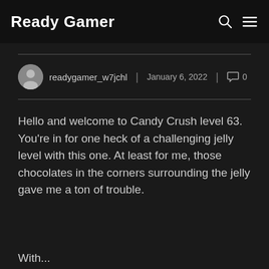Ready Gamer
readygamer_w7jchl | January 6, 2022 | 0
Hello and welcome to Candy Crush level 63. You're in for one heck of a challenging jelly level with this one. At least for me, those chocolates in the corners surrounding the jelly gave me a ton of trouble.
With...